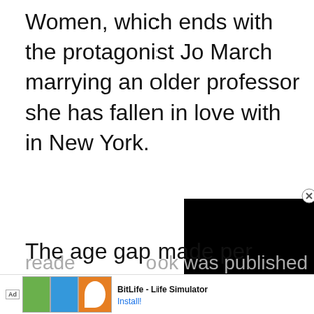Women, which ends with the protagonist Jo March marrying an older professor she has fallen in love with in New York.
[Figure (screenshot): Black video player overlay in the bottom-right area of the page]
The age gap made per
reade ook was published in
[Figure (screenshot): Ad banner at bottom: BitLife - Life Simulator app advertisement with Install button]